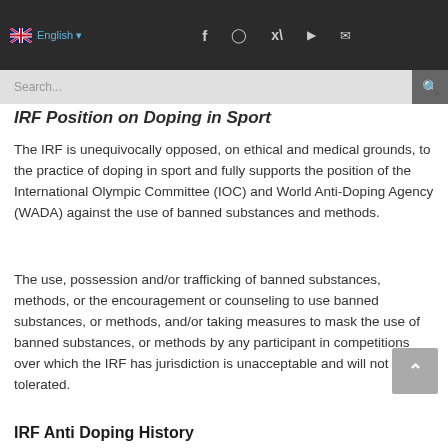English | Social media icons (Facebook, Instagram, Twitter, YouTube, Email)
IRF Position on Doping in Sport
The IRF is unequivocally opposed, on ethical and medical grounds, to the practice of doping in sport and fully supports the position of the International Olympic Committee (IOC) and World Anti-Doping Agency (WADA) against the use of banned substances and methods.
The use, possession and/or trafficking of banned substances, methods, or the encouragement or counseling to use banned substances, or methods, and/or taking measures to mask the use of banned substances, or methods by any participant in competitions over which the IRF has jurisdiction is unacceptable and will not be tolerated.
IRF Anti Doping History